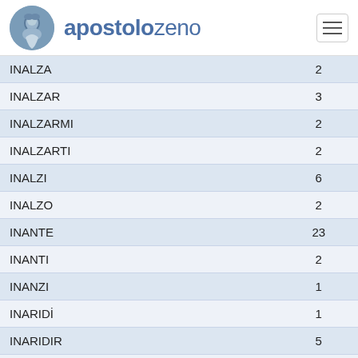apostolozeno
| Word | Count |
| --- | --- |
| INALZA | 2 |
| INALZAR | 3 |
| INALZARMI | 2 |
| INALZARTI | 2 |
| INALZI | 6 |
| INALZO | 2 |
| INANTE | 23 |
| INANTI | 2 |
| INANZI | 1 |
| INARIDİ | 1 |
| INARIDIR | 5 |
| INARIDISCON | 2 |
| INASPETTATA | 2 |
| INASPRIR | 6 |
| INASPRISCE | 2 |
| INASPRITE | 3 |